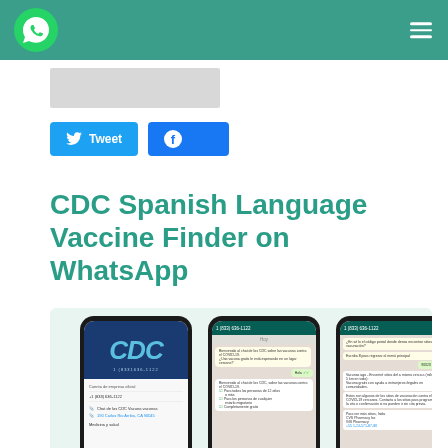WhatsApp logo and navigation bar
[Figure (other): Grey placeholder image/thumbnail]
Tweet  Share on Facebook
CDC Spanish Language Vaccine Finder on WhatsApp
[Figure (screenshot): Three smartphone mockups showing the CDC WhatsApp Spanish-language vaccine finder: first phone shows CDC contact info screen, second shows WhatsApp chat conversation, third shows vaccine location results.]